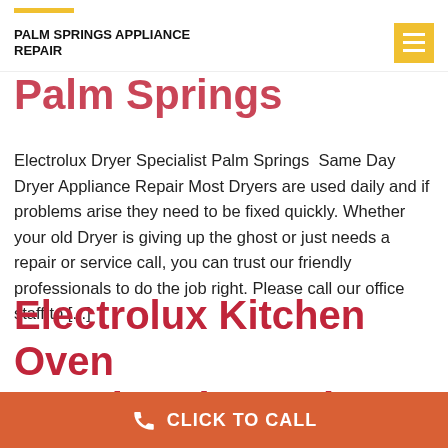PALM SPRINGS APPLIANCE REPAIR
Palm Springs
Electrolux Dryer Specialist Palm Springs  Same Day Dryer Appliance Repair Most Dryers are used daily and if problems arise they need to be fixed quickly. Whether your old Dryer is giving up the ghost or just needs a repair or service call, you can trust our friendly professionals to do the job right. Please call our office staff to [...]
Electrolux Kitchen Oven Repair Palm Springs
Electrolux Kitchen Oven Repair Palm Springs  Same Day Oven Appliance Repair Most Ovens are used daily and if
CLICK TO CALL